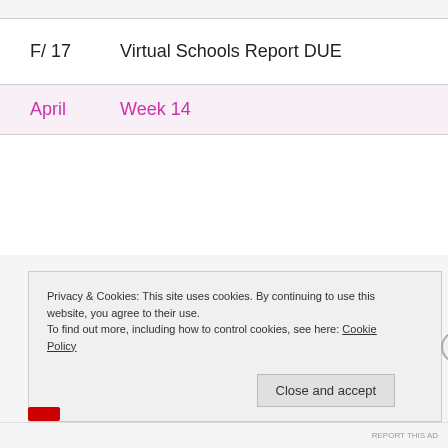F/ 17   Virtual Schools Report DUE
April   Week 14
Privacy & Cookies: This site uses cookies. By continuing to use this website, you agree to their use.
To find out more, including how to control cookies, see here: Cookie Policy
Close and accept